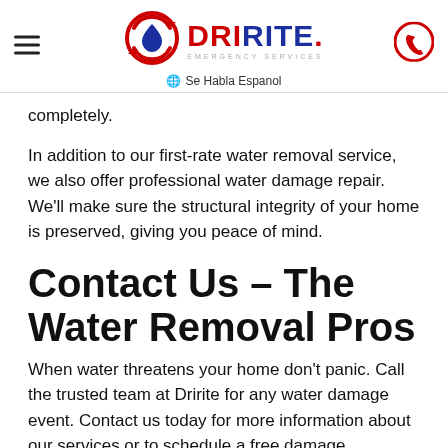[Figure (logo): DriRite Emergency Services logo with red circular arrow icon containing a blue water drop, text DRIRITE in red and blue, and EMERGENCY SERVICES subtitle]
Se Habla Espanol
completely.
In addition to our first-rate water removal service, we also offer professional water damage repair. We'll make sure the structural integrity of your home is preserved, giving you peace of mind.
Contact Us – The Water Removal Pros
When water threatens your home don't panic. Call the trusted team at Dririte for any water damage event. Contact us today for more information about our services or to schedule a free damage inspection.
Our Services